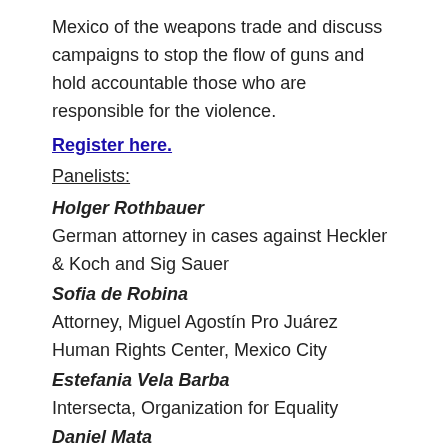Mexico of the weapons trade and discuss campaigns to stop the flow of guns and hold accountable those who are responsible for the violence.
Register here.
Panelists:
Holger Rothbauer
German attorney in cases against Heckler & Koch and Sig Sauer
Sofia de Robina
Attorney, Miguel Agostín Pro Juárez Human Rights Center, Mexico City
Estefania Vela Barba
Intersecta, Organization for Equality
Daniel Mata
Researcher, Mexican Commission for the Defense and Promotion of Human Rights